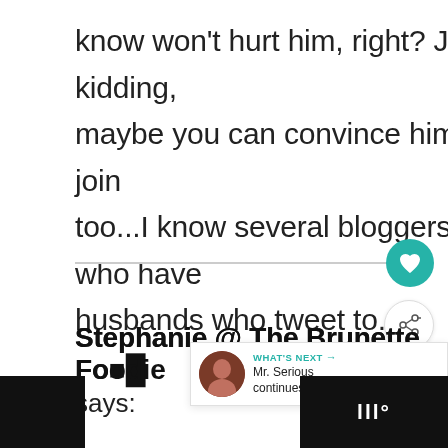know won't hurt him, right? Just kidding, maybe you can convince him to join too...I know several bloggers who have husbands who tweet to.
Reply
Stephanie @ The Brunette Foodie says:
[Figure (screenshot): What's Next card with avatar showing Mr. Serious continues to...]